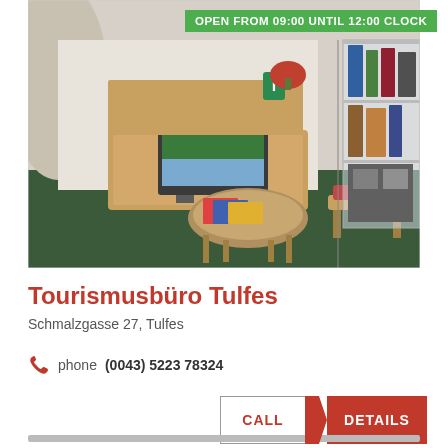[Figure (photo): Interior of a tourism office with a wooden reception desk, a flat screen monitor showing a landscape, brochures on a round table, a bench, and a glass display shelf with travel merchandise on the right side.]
OPEN FROM 09:00 UNTIL 12:00 CLOCK
Tourismusbüro Tulfes
Schmalzgasse 27, Tulfes
phone (0043) 5223 78324
CALL
DETAILS